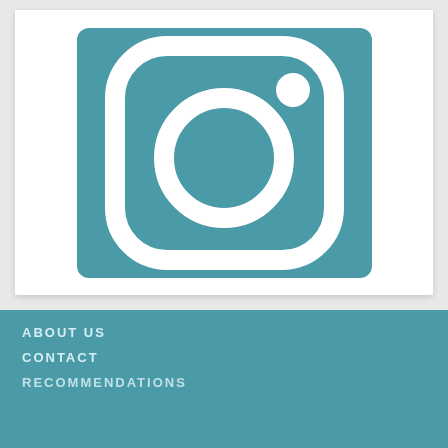[Figure (logo): Instagram logo icon on a teal/muted blue-green square background with rounded corners. White outline of a camera/square shape with rounded corners, a circle in the center, and a small circle dot in the upper right.]
ABOUT US
CONTACT
RECOMMENDATIONS